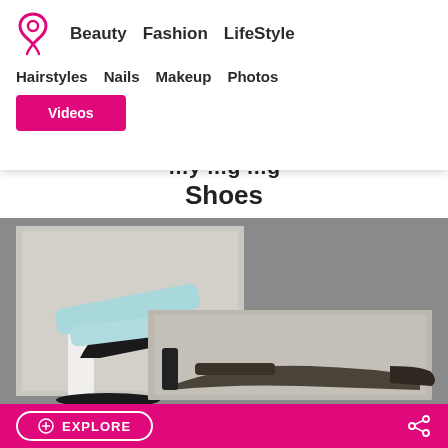Beauty | Fashion | LifeStyle | Hairstyles | Nails | Makeup | Photos | Videos
Shoes
[Figure (photo): Two overlapping photos of stylish shoes: a black high-heel sandal with light blue straps and white heel, and a dark olive/brown pointed-toe heel shoe, displayed on a grey background.]
EXPLORE